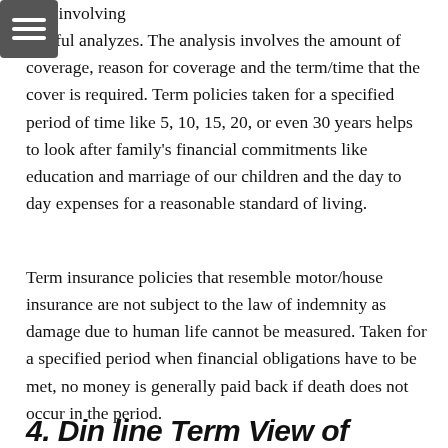task involving careful analyzes. The analysis involves the amount of coverage, reason for coverage and the term/time that the cover is required. Term policies taken for a specified period of time like 5, 10, 15, 20, or even 30 years helps to look after family's financial commitments like education and marriage of our children and the day to day expenses for a reasonable standard of living.
Term insurance policies that resemble motor/house insurance are not subject to the law of indemnity as damage due to human life cannot be measured. Taken for a specified period when financial obligations have to be met, no money is generally paid back if death does not occur in the period.
4. Din line Term View of